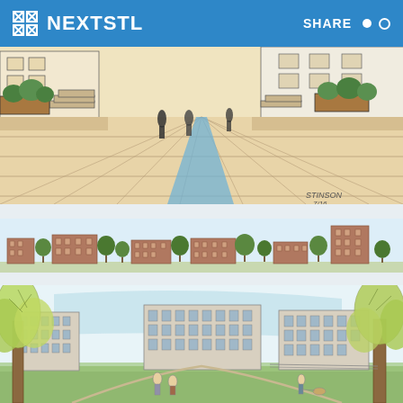NEXTSTL  SHARE
[Figure (illustration): Architectural sketch/rendering of an urban streetscape with people walking on a wide paved sidewalk, planters with greenery, and building facades. Warm sandy tones with a blue stripe running along the pavement. Signed 'STINSON 7/16'.]
[Figure (illustration): Architectural elevation rendering showing a long streetscape with mixed-use brick buildings of varying heights, interspersed with trees, against a light blue sky.]
[Figure (illustration): Architectural sketch/rendering of a park scene with large trees in the foreground, people strolling on a lawn, and multi-story residential buildings in the background with a light blue sky.]